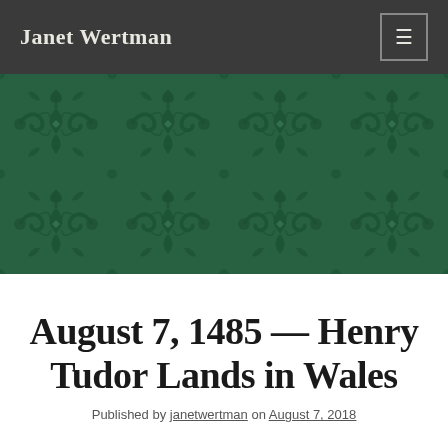Janet Wertman
[Figure (illustration): Green damask/brocade floral pattern banner image]
August 7, 1485 — Henry Tudor Lands in Wales
Published by janetwertman on August 7, 2018